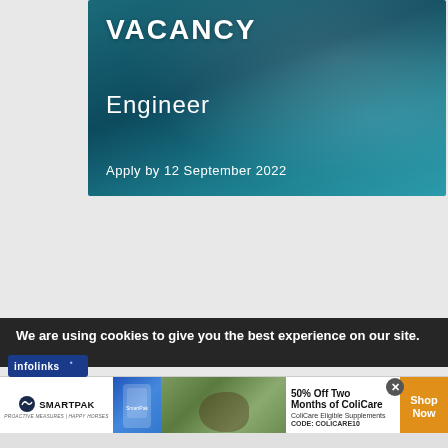[Figure (infographic): Job vacancy advertisement banner with teal/ocean water background. Shows 'VACANCY' in large white bold text, 'Engineer' in white below, and 'Apply by 12 September 2022' at the bottom.]
[Figure (logo): White panel with blue border showing two logos side by side: IAL (Independence) logo with diamond shape on blue background on the left, and CK's logo with blue text on yellow/gold square background on the right. 'INDEPENDENCE' text below IAL logo.]
We are using cookies to give you the best experience on our site.
[Figure (logo): infolinks badge/logo in blue]
[Figure (infographic): SmartPak advertisement bar. SmartPak logo with horse rider icon on left, product image, horse photo, offer text '50% Off Two Months of ColiCare', 'ColiCare Eligible Supplements', 'CODE: COLICARE10', and orange 'Shop Now' button on right.]